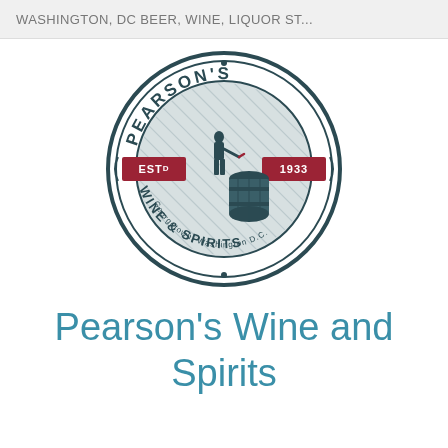WASHINGTON, DC BEER, WINE, LIQUOR ST...
[Figure (logo): Pearson's Wine & Spirits circular logo with illustration of man working with barrel. Text reads: PEARSON'S WINE & SPIRITS, Georgetown, Washington D.C., ESTD 1933.]
Pearson's Wine and Spirits